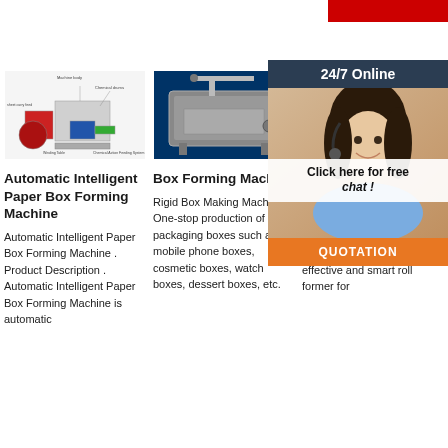[Figure (screenshot): Red navigation bar at top right]
[Figure (illustration): Automatic Intelligent Paper Box Forming Machine diagram with labeled parts]
Automatic Intelligent Paper Box Forming Machine
Automatic Intelligent Paper Box Forming Machine . Product Description . Automatic Intelligent Paper Box Forming Machine is automatic
[Figure (photo): Box Forming Machine photo on blue background]
Box Forming Machine
Rigid Box Making Machine. One-stop production of packaging boxes such as mobile phone boxes, cosmetic boxes, watch boxes, dessert boxes, etc.
[Figure (engineering-diagram): Metal Roof Ridge Cap Roll Forming Machine technical drawing on dark background]
Metal Roof Ridge Cap Roll Forming Machine LOTUS 2021
Metal Roof Ridge Cap Roll Forming Machine is a cost effective and smart roll former for
[Figure (infographic): 24/7 Online chat overlay with agent photo, Click here for free chat button, and QUOTATION button]